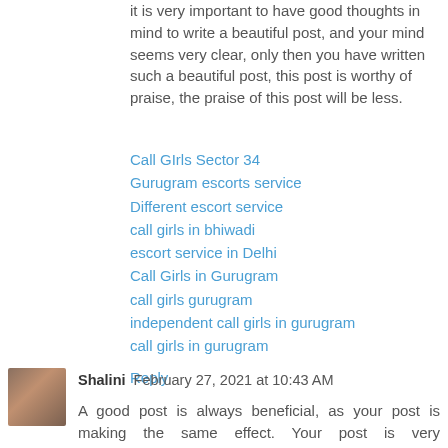it is very important to have good thoughts in mind to write a beautiful post, and your mind seems very clear, only then you have written such a beautiful post, this post is worthy of praise, the praise of this post will be less.
Call GIrls Sector 34
Gurugram escorts service
Different escort service
call girls in bhiwadi
escort service in Delhi
Call Girls in Gurugram
call girls gurugram
independent call girls in gurugram
call girls in gurugram
Reply
Shalini  February 27, 2021 at 10:43 AM
A good post is always beneficial, as your post is making the same effect. Your post is very knowledgeable. I was quite surprised to see your post that you can see such a good post even today. Hope you You will continue to provide similar posts to us as well. Thank you.